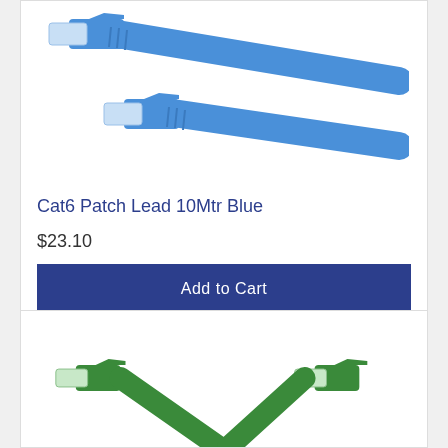[Figure (photo): Two blue Cat6 ethernet patch cables with RJ45 connectors, shown on white background]
Cat6 Patch Lead 10Mtr Blue
$23.10
Add to Cart
[Figure (photo): Green ethernet patch cable with RJ45 connectors on white background, partially visible]